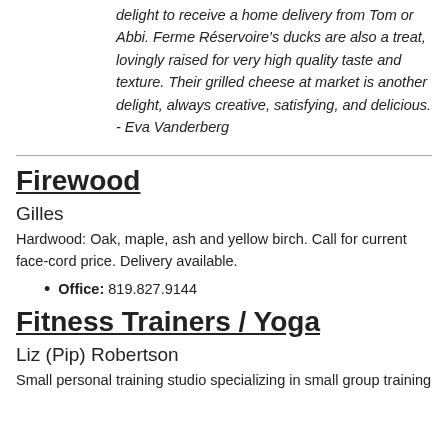delight to receive a home delivery from Tom or Abbi. Ferme Réservoire's ducks are also a treat, lovingly raised for very high quality taste and texture. Their grilled cheese at market is another delight, always creative, satisfying, and delicious. - Eva Vanderberg
Firewood
Gilles
Hardwood:  Oak, maple, ash and yellow birch.  Call for current face-cord price.  Delivery available.
Office:  819.827.9144
Fitness Trainers / Yoga
Liz (Pip) Robertson
Small personal training studio specializing in small group training